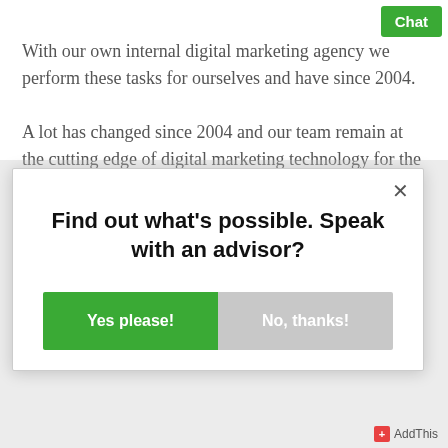Chat
With our own internal digital marketing agency we perform these tasks for ourselves and have since 2004.
A lot has changed since 2004 and our team remain at the cutting edge of digital marketing technology for the
Find out what's possible. Speak with an advisor?
Yes please!
No, thanks!
AddThis